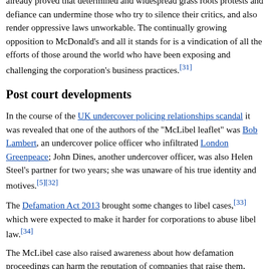already proved that determined and widespread grass roots protests and defiance can undermine those who try to silence their critics, and also render oppressive laws unworkable. The continually growing opposition to McDonald's and all it stands for is a vindication of all the efforts of those around the world who have been exposing and challenging the corporation's business practices.[31]
Post court developments
In the course of the UK undercover policing relationships scandal it was revealed that one of the authors of the "McLibel leaflet" was Bob Lambert, an undercover police officer who infiltrated London Greenpeace; John Dines, another undercover officer, was also Helen Steel's partner for two years; she was unaware of his true identity and motives.[5][32]
The Defamation Act 2013 brought some changes to libel cases,[33] which were expected to make it harder for corporations to abuse libel law.[34]
The McLibel case also raised awareness about how defamation proceedings can harm the reputation of companies that raise them,